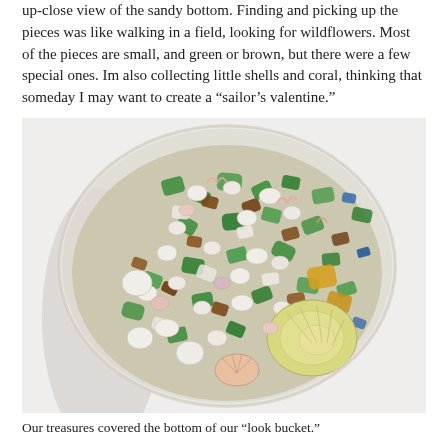up-close view of the sandy bottom. Finding and picking up the pieces was like walking in a field, looking for wildflowers. Most of the pieces are small, and green or brown, but there were a few special ones. Im also collecting little shells and coral, thinking that someday I may want to create a “sailor’s valentine.”
[Figure (photo): Overhead photo of a round glass container (look bucket) filled with colorful sea glass pieces in green, brown, amber, blue, and white, mixed with small shells and coral pieces arranged on a white surface.]
Our treasures covered the bottom of our “look bucket.”